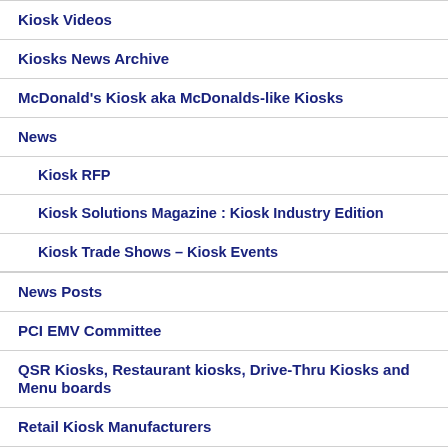Kiosk Videos
Kiosks News Archive
McDonald's Kiosk aka McDonalds-like Kiosks
News
Kiosk RFP
Kiosk Solutions Magazine : Kiosk Industry Edition
Kiosk Trade Shows – Kiosk Events
News Posts
PCI EMV Committee
QSR Kiosks, Restaurant kiosks, Drive-Thru Kiosks and Menu boards
Retail Kiosk Manufacturers
Tablet Kiosk
Benefits of Tablet Kiosks
Enclosures Tablet Kiosk